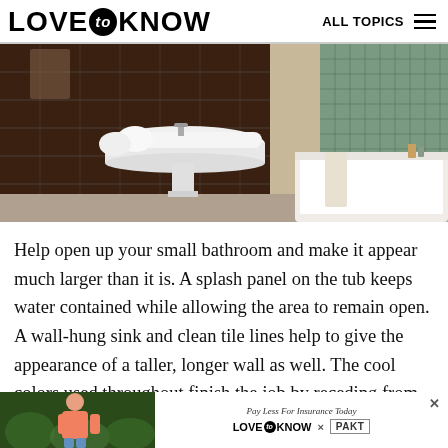LOVE to KNOW   ALL TOPICS
[Figure (photo): Bathroom interior with a wall-hung white pedestal sink with rolled white towels, dark brown tile walls, and a white bathtub with green tile surround on the right]
Help open up your small bathroom and make it appear much larger than it is. A splash panel on the tub keeps water contained while allowing the area to remain open. A wall-hung sink and clean tile lines help to give the appearance of a taller, longer wall as well. The cool colors used throughout finish the job by receding from the eye
[Figure (photo): Advertisement banner: woman in garden on left side, text 'Pay Less For Insurance Today' with 'LOVE to KNOW x PAKT' logo on white background, close button X]